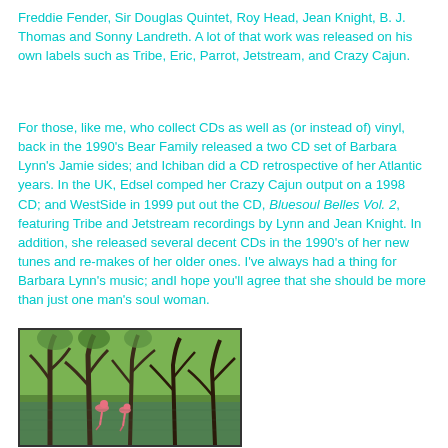Freddie Fender, Sir Douglas Quintet, Roy Head, Jean Knight, B. J. Thomas and Sonny Landreth. A lot of that work was released on his own labels such as Tribe, Eric, Parrot, Jetstream, and Crazy Cajun.
For those, like me, who collect CDs as well as (or instead of) vinyl, back in the 1990's Bear Family released a two CD set of Barbara Lynn's Jamie sides; and Ichiban did a CD retrospective of her Atlantic years. In the UK, Edsel comped her Crazy Cajun output on a 1998 CD; and WestSide in 1999 put out the CD, Bluesoul Belles Vol. 2, featuring Tribe and Jetstream recordings by Lynn and Jean Knight. In addition, she released several decent CDs in the 1990's of her new tunes and re-makes of her older ones. I've always had a thing for Barbara Lynn's music; andI hope you'll agree that she should be more than just one man's soul woman.
[Figure (photo): A swamp or bayou scene with bare twisted trees in shallow water, green foliage in background, and what appears to be pink flamingos or similar birds visible among the trees.]